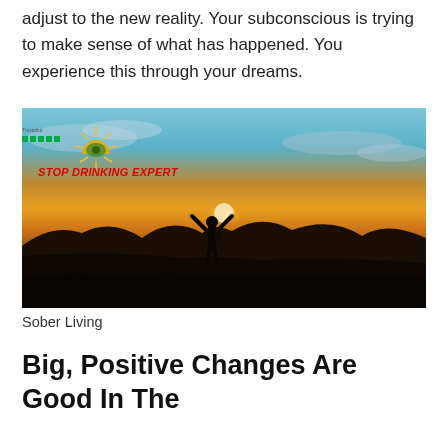adjust to the new reality. Your subconscious is trying to make sense of what has happened. You experience this through your dreams.
[Figure (photo): Person silhouetted against a vibrant sunset with arms raised triumphantly, standing on a hillside with mountains and reflective water in the background. Stop Drinking Expert logo in upper left corner of photo.]
Sober Living
Big, Positive Changes Are Good In The